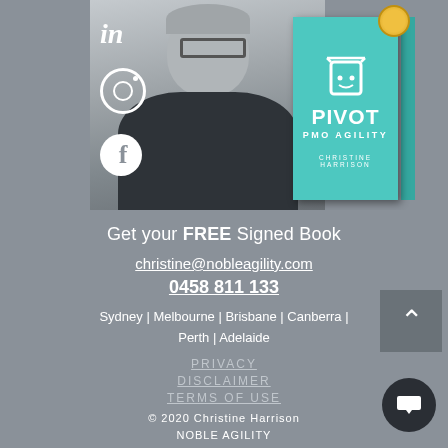[Figure (photo): Grayscale photo of a woman with short hair and glasses, with LinkedIn, Instagram, and Facebook social media icons overlaid on the left side. On the right is a teal book cover titled 'PIVOT PMO AGILITY' by Christine Harrison with an award badge.]
Get your FREE Signed Book
christine@nobleagility.com
0458 811 133
Sydney | Melbourne | Brisbane | Canberra | Perth | Adelaide
PRIVACY
DISCLAIMER
TERMS OF USE
© 2020 Christine Harrison NOBLE AGILITY